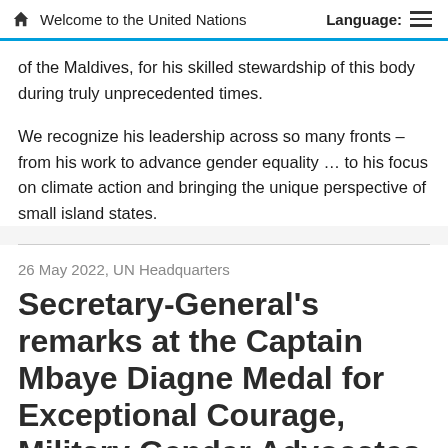Welcome to the United Nations   Language:
of the Maldives, for his skilled stewardship of this body during truly unprecedented times.
We recognize his leadership across so many fronts – from his work to advance gender equality … to his focus on climate action and bringing the unique perspective of small island states.
26 May 2022, UN Headquarters
Secretary-General's remarks at the Captain Mbaye Diagne Medal for Exceptional Courage, Military Gender Advocates of the Year Awards